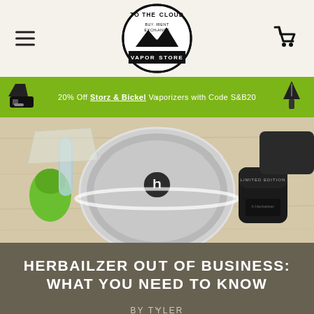To The Cloud Vapor Store — navigation header with logo
20% Off Storz & Bickel Vaporizers with Code S&B20
[Figure (photo): Close-up photo of a Herbalizer vaporizer device on a wooden table with accessories including a green silicone piece and Herbalizer-branded grinder]
HERBAILZER OUT OF BUSINESS: WHAT YOU NEED TO KNOW
BY TYLER